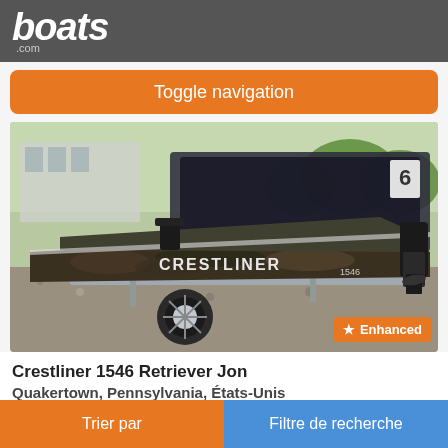boats.com
Toggle navigation
[Figure (photo): A Crestliner 1546 boat with camouflage pattern on a trailer, parked on gravel, with another boat visible in the background. An Enhanced badge is visible in the bottom-right corner of the image.]
Crestliner 1546 Retriever Jon
Quakertown, Pennsylvania, États-Unis
Trier par | Filtre de recherche